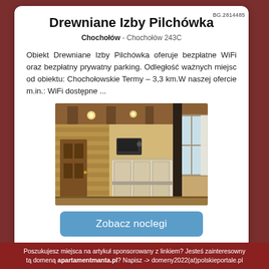BG.2814485
Drewniane Izby Pilchówka
Chochołów - Chochołów 243C
Obiekt Drewniane Izby Pilchówka oferuje bezpłatne WiFi oraz bezpłatny prywatny parking. Odległość ważnych miejsc od obiektu: Chochołowskie Termy – 3,3 km.W naszej ofercie m.in.: WiFi dostępne ...
[Figure (photo): Interior of a wooden log cabin showing kitchen area with wooden walls, ceiling lights, and white curtains on windows]
Zobacz noclegi
Poszukujesz miejsca na artykuł sponsorowany z linkiem? Jesteś zainteresowny tą domeną apartamentmanta.pl? Napisz -> domeny2022(at)polskieportale.pl